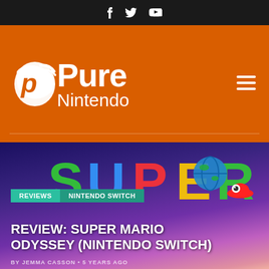Social media icons: Facebook, Twitter, YouTube
[Figure (logo): Pure Nintendo logo with orange background, white P shield icon and text 'Pure Nintendo']
[Figure (photo): Hero image for Super Mario Odyssey review article on Pure Nintendo website, showing the game's logo against a purple/pink sky background with Paris cityscape]
REVIEWS | NINTENDO SWITCH
REVIEW: SUPER MARIO ODYSSEY (NINTENDO SWITCH)
BY JEMMA CASSON • 5 YEARS AGO